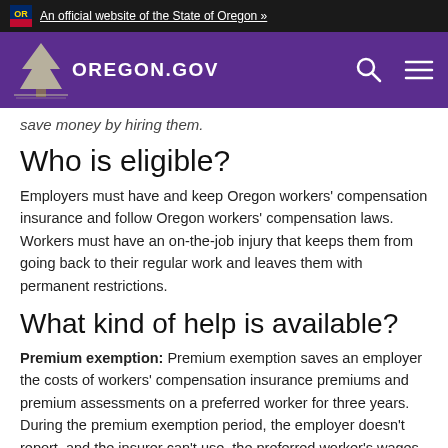An official website of the State of Oregon »
OREGON.GOV
save money by hiring them.
Who is eligible?
Employers must have and keep Oregon workers' compensation insurance and follow Oregon workers' compensation laws. Workers must have an on-the-job injury that keeps them from going back to their regular work and leaves them with permanent restrictions.
What kind of help is available?
Premium exemption: Premium exemption saves an employer the costs of workers' compensation insurance premiums and premium assessments on a preferred worker for three years. During the premium exemption period, the employer doesn't report, and the insurer can't use, the preferred worker's wages to calculate insurance premiums or premium assessments. To use this benefit, the employer must notify the Workers' Compensation Division within 90 days of hiring the preferred worker.